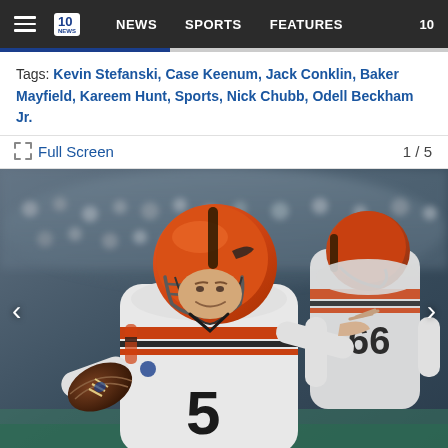Navigation bar with hamburger menu, 10 News logo, NEWS, SPORTS, FEATURES, 10
Tags: Kevin Stefanski, Case Keenum, Jack Conklin, Baker Mayfield, Kareem Hunt, Sports, Nick Chubb, Odell Beckham Jr.
Full Screen  1 / 5
[Figure (photo): Cleveland Browns quarterback wearing jersey number 5 (Case Keenum) in white uniform with orange and brown helmet, preparing to throw a pass. Another Browns player wearing number 66 visible in background on right. Crowd blurred in background. NFL preseason game action photo.]